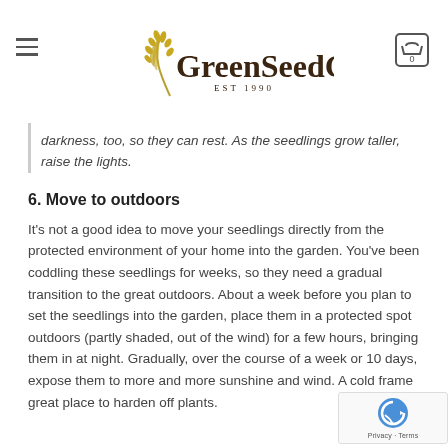GreenSeedGarden EST 1990
darkness, too, so they can rest. As the seedlings grow taller, raise the lights.
6. Move to outdoors
It’s not a good idea to move your seedlings directly from the protected environment of your home into the garden. You’ve been coddling these seedlings for weeks, so they need a gradual transition to the great outdoors. About a week before you plan to set the seedlings into the garden, place them in a protected spot outdoors (partly shaded, out of the wind) for a few hours, bringing them in at night. Gradually, over the course of a week or 10 days, expose them to more and more sunshine and wind. A cold frame great place to harden off plants.